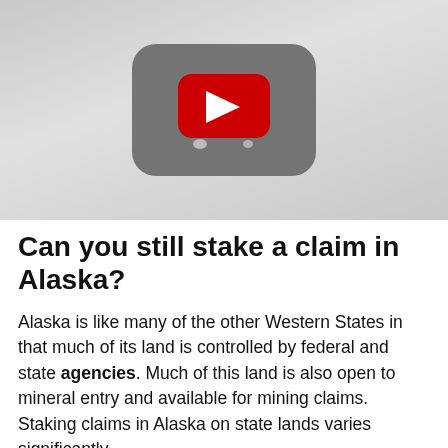[Figure (screenshot): YouTube video thumbnail placeholder showing a dark rounded rectangle with a red YouTube play button in the center, on a light gray gradient background.]
Can you still stake a claim in Alaska?
Alaska is like many of the other Western States in that much of its land is controlled by federal and state agencies. Much of this land is also open to mineral entry and available for mining claims. Staking claims in Alaska on state lands varies significantly